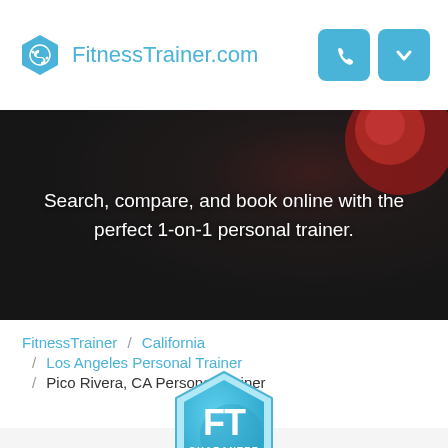FitnessTrainer.com
[Figure (photo): Dark textured background with red fitness equipment (kettlebell), hero banner image]
Search, compare, and book online with the perfect 1-on-1 personal trainer.
FitnessTrainer / California / Los Angeles Personal Trainer / Pico Rivera, CA Personal Trainer
[Figure (logo): FitnessTrainer.com FT Guarantee hexagon badge logo in blue]